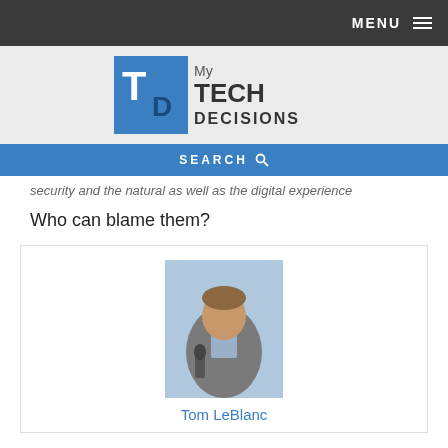MENU
[Figure (logo): My Tech Decisions logo with TD icon in blue square]
SEARCH
security and the natural as well as the digital experience
Who can blame them?
[Figure (photo): Photo of Tom LeBlanc speaking at a conference, holding a microphone, wearing a grey suit]
Tom LeBlanc